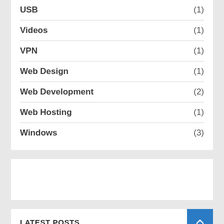USB (1)
Videos (1)
VPN (1)
Web Design (1)
Web Development (2)
Web Hosting (1)
Windows (3)
LATEST POSTS
Best Sales Automation Software for Businesses